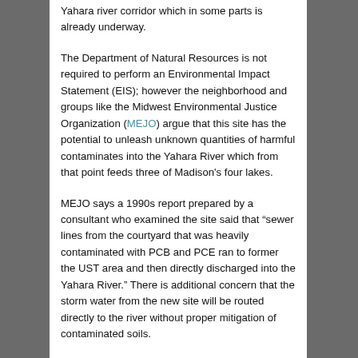Yahara river corridor which in some parts is already underway.
The Department of Natural Resources is not required to perform an Environmental Impact Statement (EIS); however the neighborhood and groups like the Midwest Environmental Justice Organization (MEJO) argue that this site has the potential to unleash unknown quantities of harmful contaminates into the Yahara River which from that point feeds three of Madison's four lakes.
MEJO says a 1990s report prepared by a consultant who examined the site said that “sewer lines from the courtyard that was heavily contaminated with PCB and PCE ran to former the UST area and then directly discharged into the Yahara River.” There is additional concern that the storm water from the new site will be routed directly to the river without proper mitigation of contaminated soils.
Given the years long fight the Atwood neighborhood has had with Madison Kipp over the the plume of toxins that leaked into nearby properties (some argue it is headed for